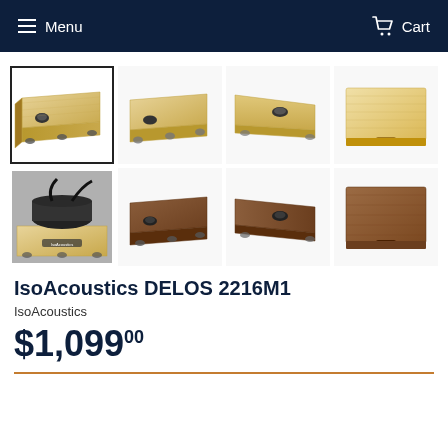Menu  Cart
[Figure (photo): Product image gallery showing IsoAcoustics DELOS 2216M1 acoustic isolation platform from multiple angles: front-angled view (selected/bordered), front view floating, side view, top view of maple finish; bottom row: in-use photo with audio equipment, front view in walnut, side view in walnut, top view of walnut finish.]
IsoAcoustics DELOS 2216M1
IsoAcoustics
$1,09900